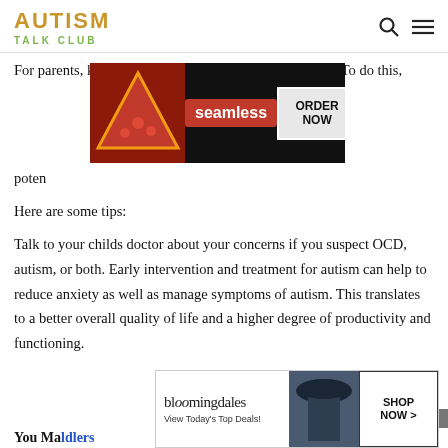AUTISM
TALK CLUB
For parents, keeping your child safe is the first concern. To do this, [ad overlay] poten[tially dangerous]
[Figure (screenshot): Seamless food delivery advertisement showing pizza with red background and ORDER NOW button]
Here are some tips:
Talk to your childs doctor about your concerns if you suspect OCD, autism, or both. Early intervention and treatment for autism can help to reduce anxiety as well as manage symptoms of autism. This translates to a better overall quality of life and a higher degree of productivity and functioning.
[Figure (screenshot): Bloomingdale's advertisement showing woman with hat and SHOP NOW button with text View Today's Top Deals!]
You Ma[y Also Like - about toddlers]